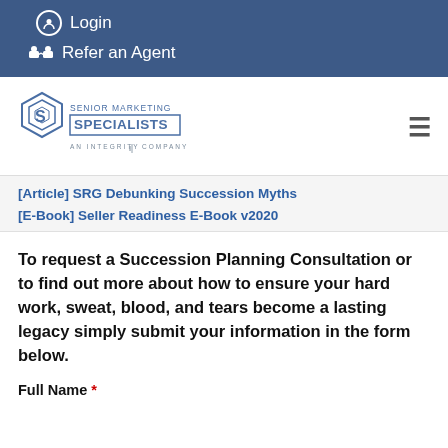Login
Refer an Agent
[Figure (logo): Senior Marketing Specialists - An Integrity Company logo]
[Article] SRG Debunking Succession Myths
[E-Book] Seller Readiness E-Book v2020
To request a Succession Planning Consultation or to find out more about how to ensure your hard work, sweat, blood, and tears become a lasting legacy simply submit your information in the form below.
Full Name *